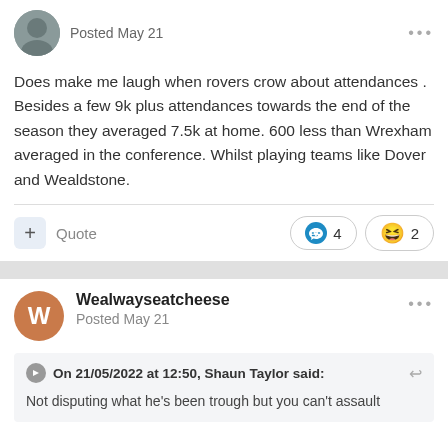Posted May 21
Does make me laugh when rovers crow about attendances . Besides a few 9k plus attendances towards the end of the season they averaged 7.5k at home. 600 less than Wrexham averaged in the conference. Whilst playing teams like Dover and Wealdstone.
+ Quote  ❤ 4  😆 2
Wealwayseatcheese
Posted May 21
On 21/05/2022 at 12:50, Shaun Taylor said:
Not disputing what he's been trough but you can't assault